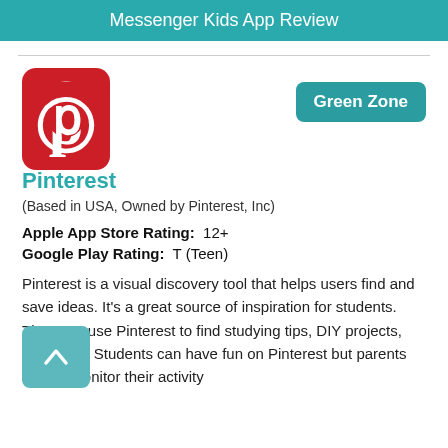Messenger Kids App Review
[Figure (logo): Pinterest logo — white Pinterest 'P' icon on red rounded square background]
Green Zone
Pinterest
(Based in USA, Owned by Pinterest, Inc)
Apple App Store Rating:  12+
Google Play Rating:  T (Teen)
Pinterest is a visual discovery tool that helps users find and save ideas. It's a great source of inspiration for students. They can use Pinterest to find studying tips, DIY projects, and more. Students can have fun on Pinterest but parents should monitor their activity